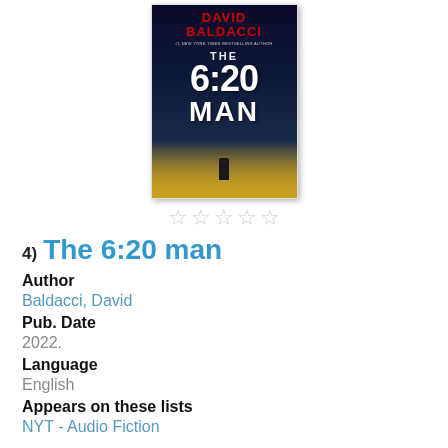[Figure (photo): Book cover of 'The 6:20 Man' by David Baldacci, showing title in large white letters on a dark city street background with blue lighting. Author name in red at top, subtitle '#1 New York Times Bestselling Author'.]
☆☆☆☆☆
4) The 6:20 man
Author
Baldacci, David
Pub. Date
2022.
Language
English
Appears on these lists
NYT - Audio Fiction